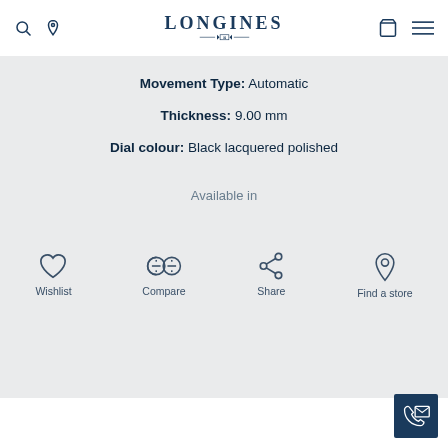LONGINES
Movement Type: Automatic
Thickness: 9.00 mm
Dial colour: Black lacquered polished
Available in
Wishlist  Compare  Share  Find a store